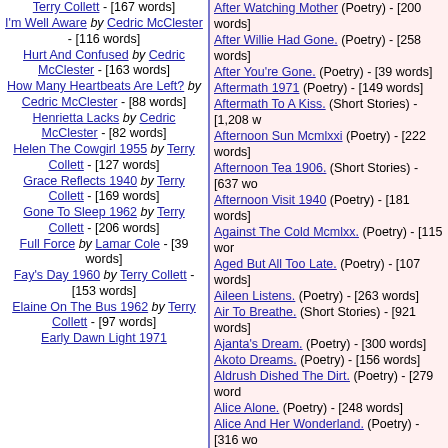Terry Collett - [167 words]
I'm Well Aware by Cedric McClester - [116 words]
Hurt And Confused by Cedric McClester - [163 words]
How Many Heartbeats Are Left? by Cedric McClester - [88 words]
Henrietta Lacks by Cedric McClester - [82 words]
Helen The Cowgirl 1955 by Terry Collett - [127 words]
Grace Reflects 1940 by Terry Collett - [169 words]
Gone To Sleep 1962 by Terry Collett - [206 words]
Full Force by Lamar Cole - [39 words]
Fay's Day 1960 by Terry Collett - [153 words]
Elaine On The Bus 1962 by Terry Collett - [97 words]
Early Dawn Light 1971
After Watching Mother (Poetry) - [200 words]
After Willie Had Gone. (Poetry) - [258 words]
After You're Gone. (Poetry) - [39 words]
Aftermath 1971 (Poetry) - [149 words]
Aftermath To A Kiss. (Short Stories) - [1,208 words]
Afternoon Sun Mcmlxxi (Poetry) - [222 words]
Afternoon Tea 1906. (Short Stories) - [637 words]
Afternoon Visit 1940 (Poetry) - [181 words]
Against The Cold Mcmlxx. (Poetry) - [115 words]
Aged But All Too Late. (Poetry) - [107 words]
Aileen Listens. (Poetry) - [263 words]
Air To Breathe. (Short Stories) - [921 words]
Ajanta's Dream. (Poetry) - [300 words]
Akoto Dreams. (Poetry) - [156 words]
Aldrush Dished The Dirt. (Poetry) - [279 words]
Alice Alone. (Poetry) - [248 words]
Alice And Her Wonderland. (Poetry) - [316 words]
Alice And The Caricature. (Poetry) - [177 words]
Alice And The Lady's Maid. (Short Stories) - [...]
Alice And The New Dawn (Poetry) - [495 words]
Alice And The Photographer. (Poetry) - [126 words]
Alice And The Row. (Poetry) - [270 words]
Alice And The Secret Kiss. (Poetry) - [175 words]
Alice And The Stables (Poetry) - [212 words]
Alice And The Tower. (Poetry) - [534 words]